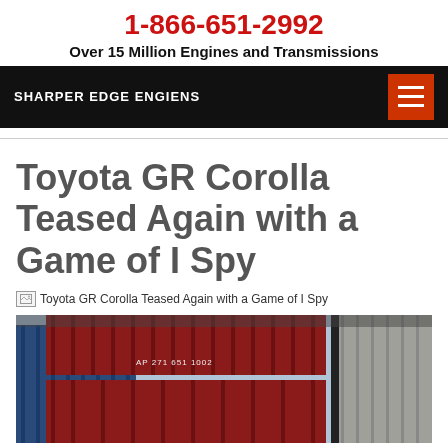1-866-651-2992
Over 15 Million Engines and Transmissions
SHARPER EDGE ENGIENS
Toyota GR Corolla Teased Again with a Game of I Spy
Toyota GR Corolla Teased Again with a Game of I Spy
[Figure (photo): Stacked intermodal shipping containers in various colors including blue, red, and grey, photographed from below looking up at an angle]